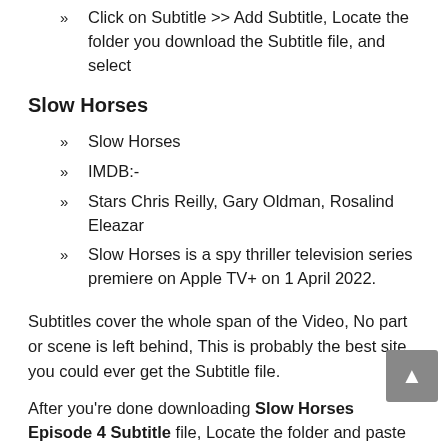Click on Subtitle >> Add Subtitle, Locate the folder you download the Subtitle file, and select
Slow Horses
Slow Horses
IMDB:-
Stars Chris Reilly, Gary Oldman, Rosalind Eleazar
Slow Horses is a spy thriller television series premiere on Apple TV+ on 1 April 2022.
Subtitles cover the whole span of the Video, No part or scene is left behind, This is probably the best site you could ever get the Subtitle file.
After you’re done downloading Slow Horses Episode 4 Subtitle file, Locate the folder and paste the film